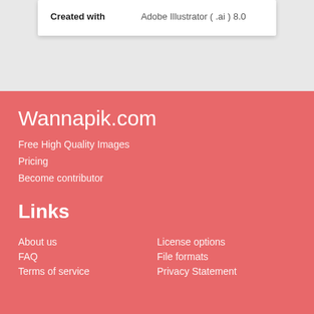| Created with |  |
| --- | --- |
| Created with | Adobe Illustrator ( .ai ) 8.0 |
Wannapik.com
Free High Quality Images
Pricing
Become contributor
Links
About us
License options
FAQ
File formats
Terms of service
Privacy Statement